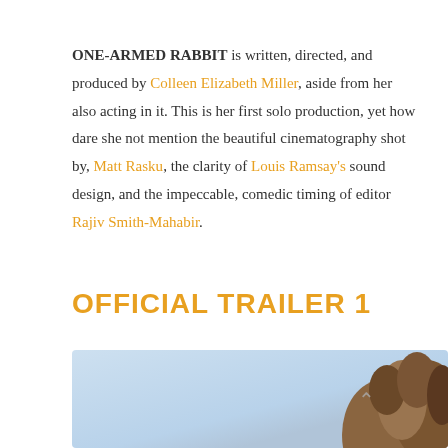ONE-ARMED RABBIT is written, directed, and produced by Colleen Elizabeth Miller, aside from her also acting in it. This is her first solo production, yet how dare she not mention the beautiful cinematography shot by, Matt Rasku, the clarity of Louis Ramsay's sound design, and the impeccable, comedic timing of editor Rajiv Smith-Mahabir.
OFFICIAL TRAILER 1
[Figure (photo): Video thumbnail showing a person with curly hair against a light blue sky background, with a chevron/arrow icon visible]